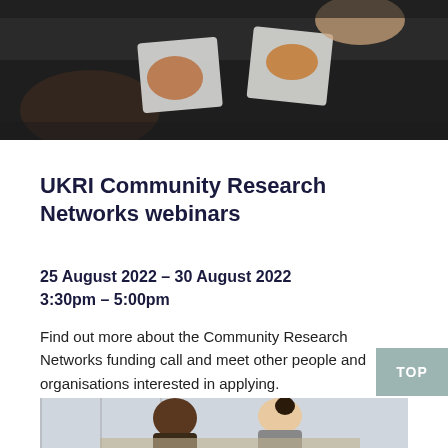[Figure (photo): Overhead view of people sharing food on a dark table, aerial shot]
UKRI Community Research Networks webinars
25 August 2022 – 30 August 2022
3:30pm – 5:00pm
Find out more about the Community Research Networks funding call and meet other people and organisations interested in applying.
[Figure (photo): Two people studying or working together at a table, viewed from above]
TOP